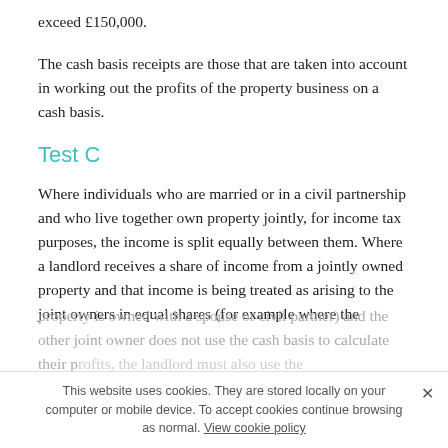exceed £150,000.
The cash basis receipts are those that are taken into account in working out the profits of the property business on a cash basis.
Test C
Where individuals who are married or in a civil partnership and who live together own property jointly, for income tax purposes, the income is split equally between them. Where a landlord receives a share of income from a jointly owned property and that income is being treated as arising to the joint owners in equal shares (for example where the
property is owned with a spouse or civil partner) and the other joint owner does not use the cash basis to calculate their profits, the landlord must also use the
This website uses cookies. They are stored locally on your computer or mobile device. To accept cookies continue browsing as normal. View cookie policy